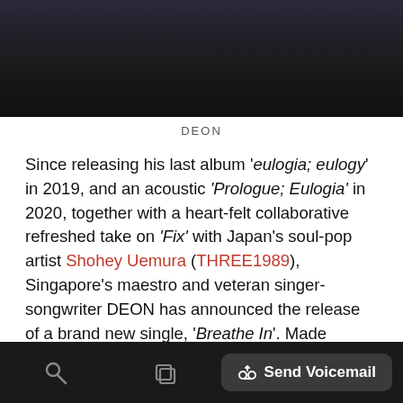[Figure (photo): Dark background photo of a person (DEON), partially visible at top of page]
DEON
Since releasing his last album 'eulogia; eulogy' in 2019, and an acoustic 'Prologue; Eulogia' in 2020, together with a heart-felt collaborative refreshed take on 'Fix' with Japan's soul-pop artist Shohey Uemura (THREE1989), Singapore's maestro and veteran singer-songwriter DEON has announced the release of a brand new single, 'Breathe In'. Made available on all major digital streaming platforms on 3 September 2021 via Singaporean independent music label, Where Are The Fruits, 'Breathe In' kick starts DEON's latest chapter of discovery and renewal
Send Voicemail